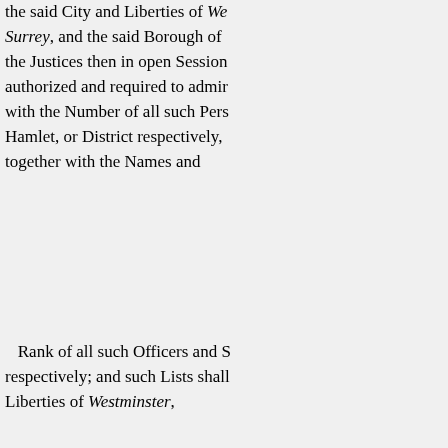the said City and Liberties of Westminster, Surrey, and the said Borough of [S]; the Justices then in open Session [are] authorized and required to administer with the Number of all such Persons [in each] Hamlet, or District respectively, [listed] together with the Names and
Rank of all such Officers and [Soldiers] respectively; and such Lists shall [be for the] Liberties of Westminster,
the said County of Middlesex, the [said] County of Surrey, respec
tively, to the Intent that all and every [the] same without any Fee or Reward [whatsoever];
such Clerk shall forthwith from t[ime to time]
every or any Person or Persons w[ho shall require]
Copies of all and every or any [such Lists]; every such Copy so taken, each S[uch Overseer]; and Penalty on if Default or Neg[lect of the]; Tithingman, of any such Parish, [Ward or]
District, in the delivering such [Lists]